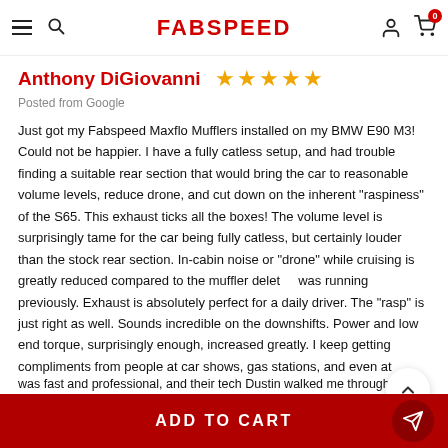FABSPEED
Anthony DiGiovanni ★★★★★
Posted from Google
Just got my Fabspeed Maxflo Mufflers installed on my BMW E90 M3! Could not be happier. I have a fully catless setup, and had trouble finding a suitable rear section that would bring the car to reasonable volume levels, reduce drone, and cut down on the inherent "raspiness" of the S65. This exhaust ticks all the boxes! The volume level is surprisingly tame for the car being fully catless, but certainly louder than the stock rear section. In-cabin noise or "drone" while cruising is greatly reduced compared to the muffler delete I was running previously. Exhaust is absolutely perfect for a daily driver. The "rasp" is just right as well. Sounds incredible on the downshifts. Power and low end torque, surprisingly enough, increased greatly. I keep getting compliments from people at car shows, gas stations, and even at stoplights. Fabspeed was an excellent company to deal with as well. The owner Joe Fabiani is a stand up guy, and scheduled me in super early on a Wednesday ...was fast and professional, and their tech Dustin walked me through the
ADD TO CART